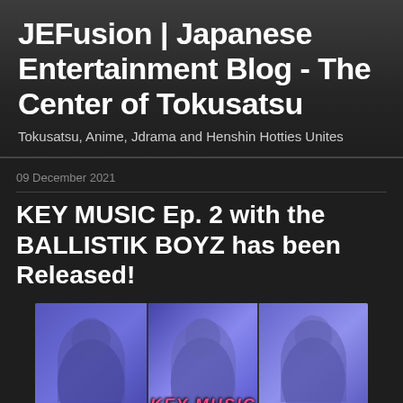JEFusion | Japanese Entertainment Blog - The Center of Tokusatsu
Tokusatsu, Anime, Jdrama and Henshin Hotties Unites
09 December 2021
KEY MUSIC Ep. 2 with the BALLISTIK BOYZ has been Released!
[Figure (photo): Three people in blue-lit setting with 'KEY MUSIC' text overlay at bottom]